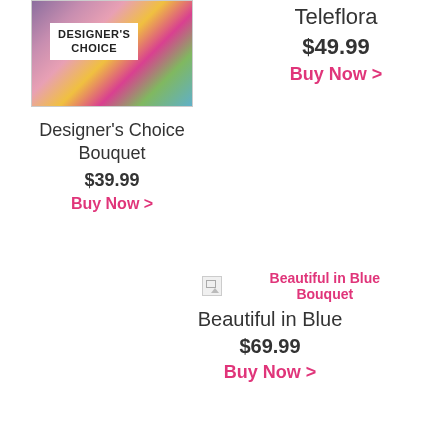[Figure (photo): Designer's Choice Bouquet product image with colorful flowers and a white label reading DESIGNER'S CHOICE]
Designer's Choice Bouquet
$39.99
Buy Now >
Teleflora
$49.99
Buy Now >
[Figure (photo): Broken image placeholder for Beautiful in Blue Bouquet]
Beautiful in Blue Bouquet
Beautiful in Blue
$69.99
Buy Now >